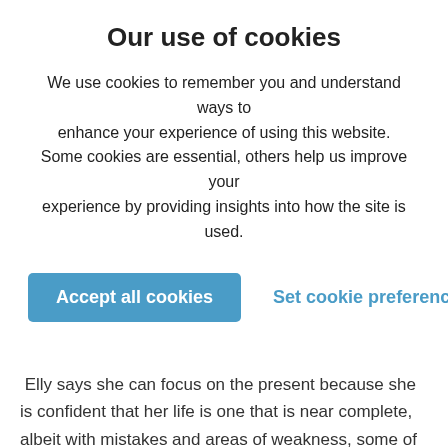Our use of cookies
We use cookies to remember you and understand ways to enhance your experience of using this website. Some cookies are essential, others help us improve your experience by providing insights into how the site is used.
Accept all cookies   Set cookie preferences
Elly says she can focus on the present because she is confident that her life is one that is near complete, albeit with mistakes and areas of weakness, some of which are only recently overcome. She recognises that she is “passing through” this life and that she has achieved most of what she has wanted to do whilst in